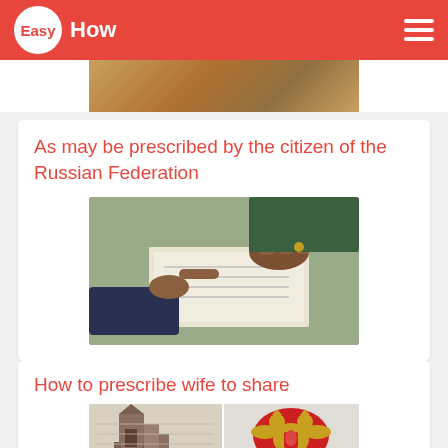EasyHow
As may be prescribed by the citizen of the Russian Federation
[Figure (photo): Two people signing or reviewing a document on a table, hands visible pointing at the document]
How to prescribe wife to share
[Figure (photo): Russian document/passport with Kremlin tower image and Russian Federation double-headed eagle coat of arms]